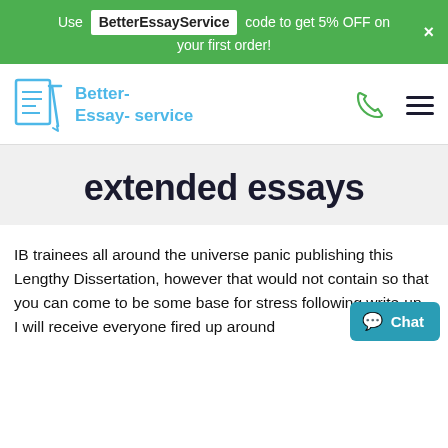Use BetterEssayService code to get 5% OFF on your first order!
[Figure (logo): Better-Essay-service logo with document and pen icon in light blue, with phone and hamburger menu icons]
extended essays
IB trainees all around the universe panic publishing this Lengthy Dissertation, however that would not contain so that you can come to be some base for stress following write-up. I will receive everyone fired up around